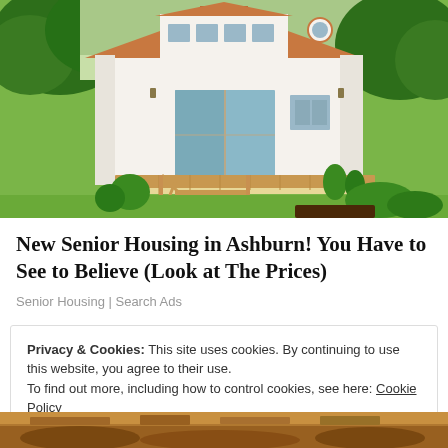[Figure (photo): A small white cottage-style tiny house with wood trim roof and a wooden deck with stairs, surrounded by green lawn and trees]
New Senior Housing in Ashburn! You Have to See to Believe (Look at The Prices)
Senior Housing | Search Ads
Privacy & Cookies: This site uses cookies. By continuing to use this website, you agree to their use.
To find out more, including how to control cookies, see here: Cookie Policy
[Figure (photo): Partial bottom image, appears to show wooden interior or furniture details]